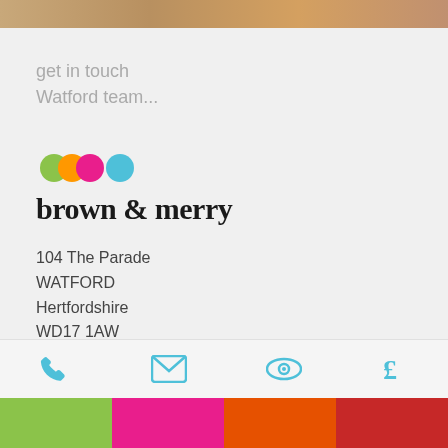[Figure (photo): Cropped photo of a wooden surface/desk at top of page]
get in touch
Watford team...
[Figure (logo): Brown & Merry logo with coloured circles (green, orange, magenta, cyan) and brand name in serif font]
104 The Parade
WATFORD
Hertfordshire
WD17 1AW
view on map >
email us >
looking for something else?
Phone | Email | View | £ icons